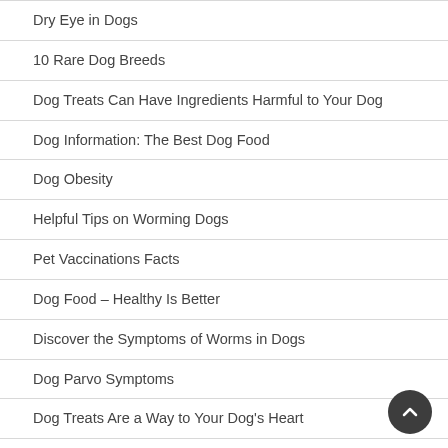Dry Eye in Dogs
10 Rare Dog Breeds
Dog Treats Can Have Ingredients Harmful to Your Dog
Dog Information: The Best Dog Food
Dog Obesity
Helpful Tips on Worming Dogs
Pet Vaccinations Facts
Dog Food – Healthy Is Better
Discover the Symptoms of Worms in Dogs
Dog Parvo Symptoms
Dog Treats Are a Way to Your Dog's Heart
Dog Information on Food Allergies